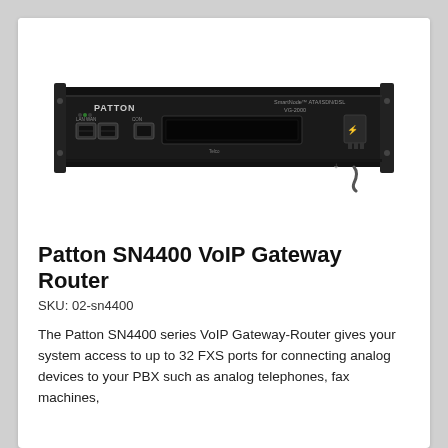[Figure (photo): Front view of Patton SN4400 VoIP Gateway Router, a 1U rack-mount black unit with ports and connectors on the front panel.]
Patton SN4400 VoIP Gateway Router
SKU: 02-sn4400
The Patton SN4400 series VoIP Gateway-Router gives your system access to up to 32 FXS ports for connecting analog devices to your PBX such as analog telephones, fax machines,